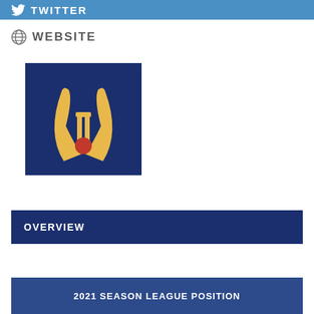TWITTER
WEBSITE
[Figure (logo): Sports organization logo on dark navy blue background featuring two curved hurling sticks and a red ball with a golden/yellow wicket gate in the center]
OVERVIEW
2021 SEASON LEAGUE POSITION